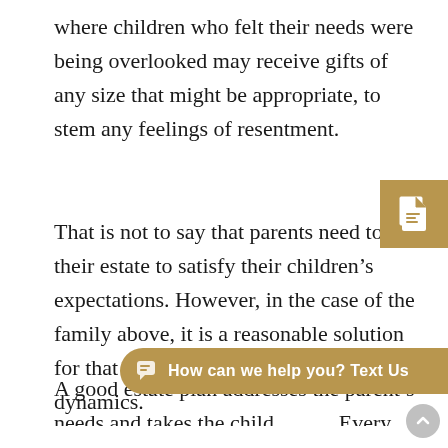where children who felt their needs were being overlooked may receive gifts of any size that might be appropriate, to stem any feelings of resentment.
That is not to say that parents need to use their estate to satisfy their children's expectations. However, in the case of the family above, it is a reasonable solution for that particular family and their dynamics.
A good estate plan addresses the parent's needs and takes the child... Every parent needs to address their children's unique needs and be able to distinguish their